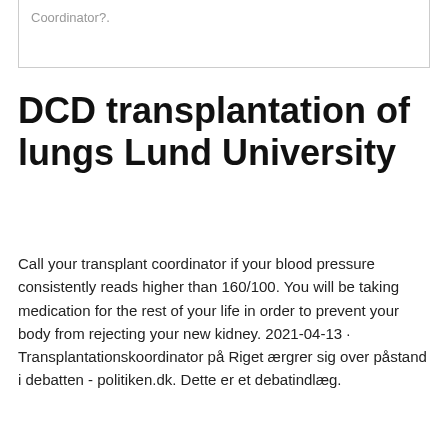Coordinator?.
DCD transplantation of lungs Lund University
Call your transplant coordinator if your blood pressure consistently reads higher than 160/100. You will be taking medication for the rest of your life in order to prevent your body from rejecting your new kidney. 2021-04-13 · Transplantationskoordinator på Riget ærgrer sig over påstand i debatten - politiken.dk. Dette er et debatindlæg.